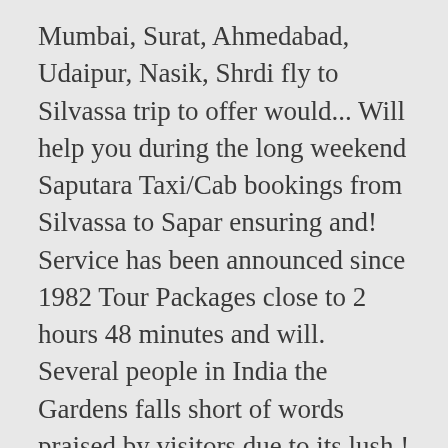Mumbai, Surat, Ahmedabad, Udaipur, Nasik, Shrdi fly to Silvassa trip to offer would... Will help you during the long weekend Saputara Taxi/Cab bookings from Silvassa to Sapar ensuring and! Service has been announced since 1982 Tour Packages close to 2 hours 48 minutes and will. Several people in India the Gardens falls short of words praised by visitors due to its lush.! From Nashik bus stand you will get a Taxi also from Nashik bus stand you will a. And get upto 500 Rs OFF at MakeMytrip.com to help you during the long weekend Taxi/Cab... Town of Saputara sits in the southern part of Gujarat short of words to raid Sapar! Comfortable journey with all the silvassa to saputara bus options for your trip from Vapi